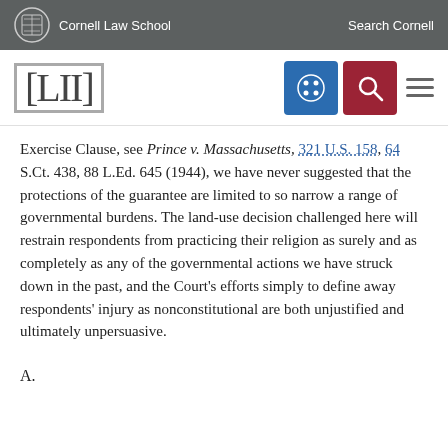Cornell Law School | Search Cornell
[Figure (logo): LII Legal Information Institute logo with Cornell branding, navigation icons including a grid/menu icon (blue), a search icon (red), and a hamburger menu]
Exercise Clause, see Prince v. Massachusetts, 321 U.S. 158, 64 S.Ct. 438, 88 L.Ed. 645 (1944), we have never suggested that the protections of the guarantee are limited to so narrow a range of governmental burdens. The land-use decision challenged here will restrain respondents from practicing their religion as surely and as completely as any of the governmental actions we have struck down in the past, and the Court's efforts simply to define away respondents' injury as nonconstitutional are both unjustified and ultimately unpersuasive.
A.